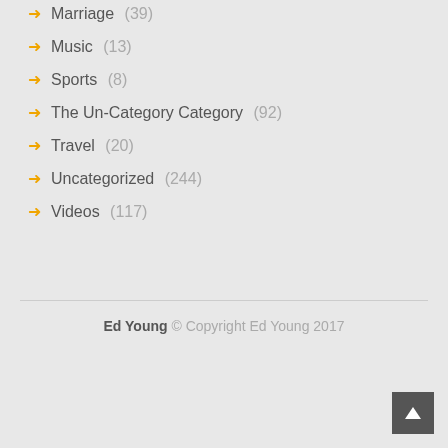Marriage (39)
Music (13)
Sports (8)
The Un-Category Category (92)
Travel (20)
Uncategorized (244)
Videos (117)
Ed Young © Copyright Ed Young 2017